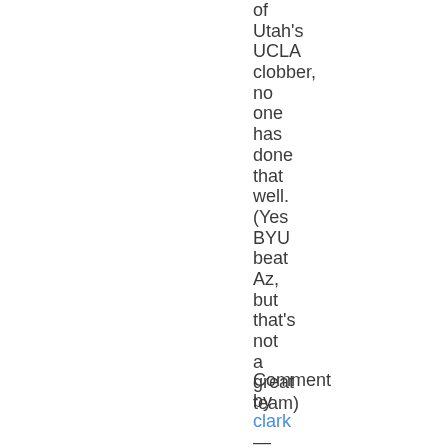of Utah's UCLA clobber, no one has done that well. (Yes BYU beat Az, but that's not a great team)
Comment by clark — September 17, 2007